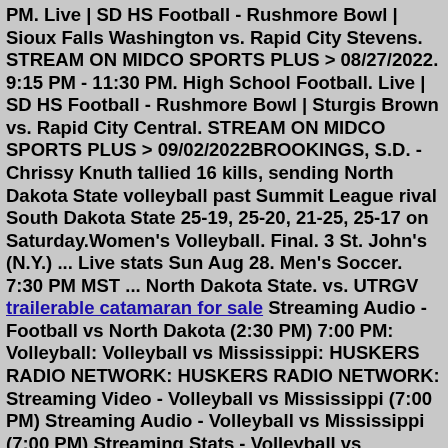PM. Live | SD HS Football - Rushmore Bowl | Sioux Falls Washington vs. Rapid City Stevens. STREAM ON MIDCO SPORTS PLUS > 08/27/2022. 9:15 PM - 11:30 PM. High School Football. Live | SD HS Football - Rushmore Bowl | Sturgis Brown vs. Rapid City Central. STREAM ON MIDCO SPORTS PLUS > 09/02/2022BROOKINGS, S.D. - Chrissy Knuth tallied 16 kills, sending North Dakota State volleyball past Summit League rival South Dakota State 25-19, 25-20, 21-25, 25-17 on Saturday.Women's Volleyball. Final. 3 St. John's (N.Y.) ... Live stats Sun Aug 28. Men's Soccer. 7:30 PM MST ... North Dakota State. vs. UTRGV trailerable catamaran for sale Streaming Audio - Football vs North Dakota (2:30 PM) 7:00 PM: Volleyball: Volleyball vs Mississippi: HUSKERS RADIO NETWORK: HUSKERS RADIO NETWORK: Streaming Video - Volleyball vs Mississippi (7:00 PM) Streaming Audio - Volleyball vs Mississippi (7:00 PM) Streaming Stats - Volleyball vs Mississippi (7:00 PM) Sunday, September 4 9/4/2022; 1:00 p... Women's Volleyball. Final. 3 Stephen F.